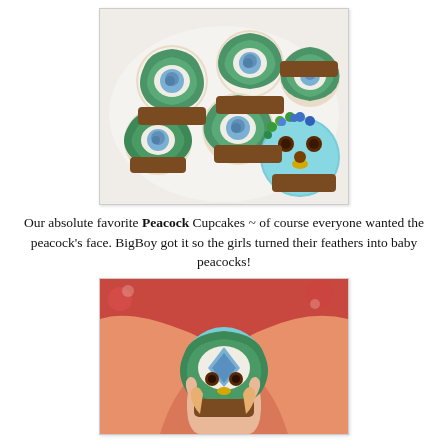[Figure (photo): Photo of peacock-themed cupcakes on a white plate. Five cupcakes decorated with green and teal frosting swirls with blue rose centers (feather design), and one cupcake with light blue frosting decorated with candy to resemble a peacock face with M&M eyes and a yellow beak.]
Our absolute favorite Peacock Cupcakes ~ of course everyone wanted the peacock's face. BigBoy got it so the girls turned their feathers into baby peacocks!
[Figure (photo): Close-up photo of a child holding a cupcake decorated to look like a baby peacock, with green/teal feather frosting, a light blue center, two brown candy eyes, and a yellow candy beak. The child is wearing a peach/salmon colored dress against a red floral background.]